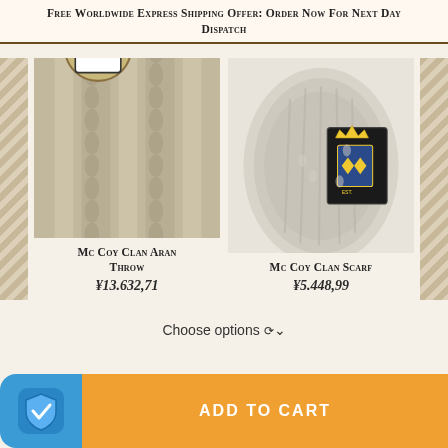Free Worldwide Express Shipping Offer: Order Now For Next Day Dispatch
[Figure (photo): Mc Coy Clan Aran Throw – close-up of cream cable-knit textile with heraldic shield badge]
Mc Coy Clan Aran Throw
¥13.632,71
[Figure (photo): Mc Coy Clan Scarf – rolled cream cable-knit scarf with black heraldic label on white background]
Mc Coy Clan Scarf
¥5.448,99
Choose options ∨
ADD TO CART